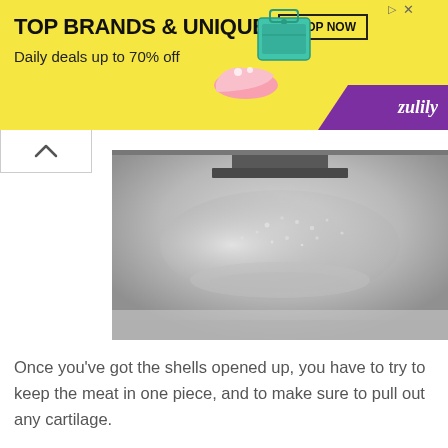[Figure (other): Advertisement banner for Zulily: yellow background with text 'TOP BRANDS & UNIQUE FINDS', 'Daily deals up to 70% off', SHOP NOW button, shoe and bag images, purple Zulily logo corner]
[Figure (photo): Black and white close-up photograph of shellfish/clam meat, showing water droplets and liquid on a flat surface]
Once you've got the shells opened up, you have to try to keep the meat in one piece, and to make sure to pull out any cartilage.
[Figure (photo): Black and white photograph showing shellfish meat/clam body parts laid out on a flat surface]